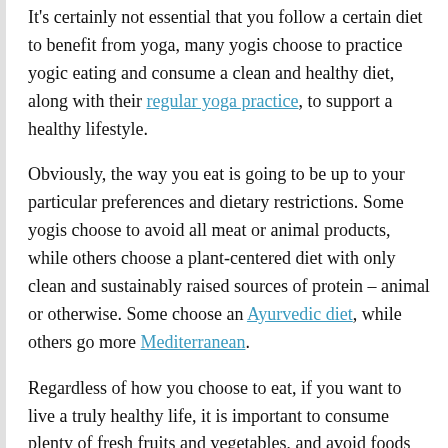It's certainly not essential that you follow a certain diet to benefit from yoga, many yogis choose to practice yogic eating and consume a clean and healthy diet, along with their regular yoga practice, to support a healthy lifestyle.
Obviously, the way you eat is going to be up to your particular preferences and dietary restrictions. Some yogis choose to avoid all meat or animal products, while others choose a plant-centered diet with only clean and sustainably raised sources of protein – animal or otherwise. Some choose an Ayurvedic diet, while others go more Mediterranean.
Regardless of how you choose to eat, if you want to live a truly healthy life, it is important to consume plenty of fresh fruits and vegetables, and avoid foods that may contain harmful ingredients or chemicals. Below are 5 tips for yogic eating to support your body and mind as you embrace a life of health and balance.